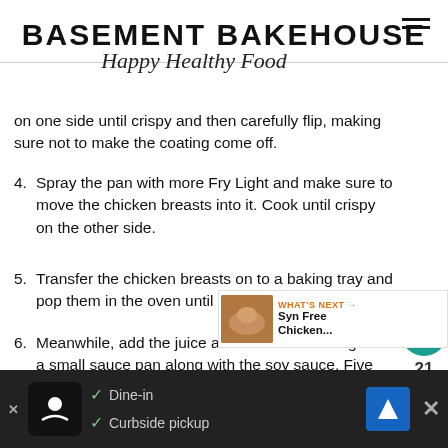BASEMENT BAKEHOUSE
Happy Healthy Food
on one side until crispy and then carefully flip, making sure not to make the coating come off.
4. Spray the pan with more Fry Light and make sure to move the chicken breasts into it. Cook until crispy on the other side.
5. Transfer the chicken breasts on to a baking tray and pop them in the oven until cooked through.
6. Meanwhile, add the juice and zest of the orange to a small sauce pan along with the soy sauce, Five Spice powder and soy sauce and heat over a medium heat.
7. When the liquid begins to bubble, add the chicken stock cube and water and stir until dissolved. Sprinkle in the Xanthan Gum and stir until this is incorporated. It will be a
WHAT'S NEXT → Syn Free Chicken...
Dine-in  Curbside pickup